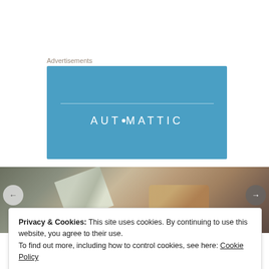Advertisements
[Figure (logo): Automattic logo on blue background with horizontal rule above text]
[Figure (photo): Photo of packaged food items in a container, viewed from above]
Privacy & Cookies: This site uses cookies. By continuing to use this website, you agree to their use.
To find out more, including how to control cookies, see here: Cookie Policy
Close and accept